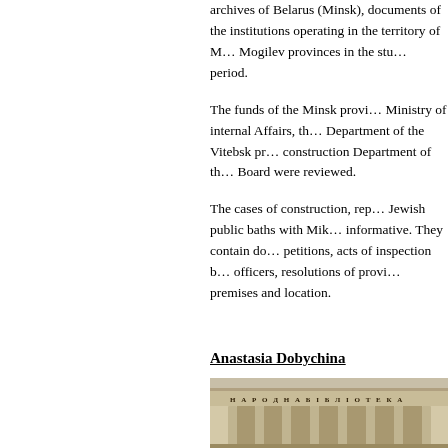archives of Belarus (Minsk), documents of the institutions operating in the territory of Minsk, Mogilev provinces in the studied period.
The funds of the Minsk provincial Ministry of internal Affairs, the Department of the Vitebsk provincial construction Department of the Board were reviewed.
The cases of construction, repair of Jewish public baths with Mikveh are informative. They contain documents, petitions, acts of inspection by officers, resolutions of provincial premises and location.
Anastasia Dobychina
[Figure (photo): Photograph of a classical building facade with Cyrillic text НАРОДНА БІБЛІОТЕКА (National Library) visible on the entablature, with columns and ornamental architectural details.]